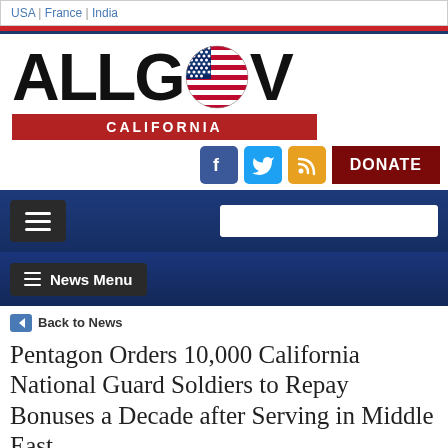USA | France | India
[Figure (logo): AllGov California logo with American flag 'o' in GOV and red California banner beneath]
[Figure (infographic): Facebook, Twitter, RSS social icons and dark red DONATE button]
[Figure (infographic): Navigation bar with hamburger menu button and search box]
[Figure (infographic): News Menu button bar]
Back to News
Pentagon Orders 10,000 California National Guard Soldiers to Repay Bonuses a Decade after Serving in Middle East